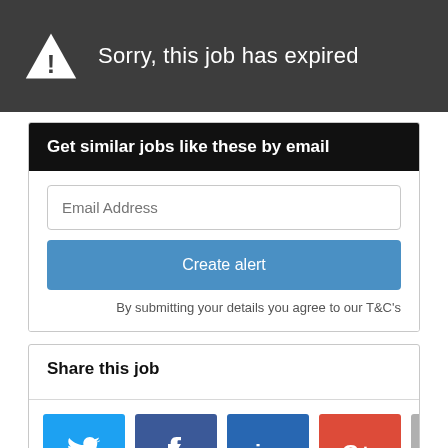Sorry, this job has expired
Get similar jobs like these by email
Email Address
Create alert
By submitting your details you agree to our T&C's
Share this job
[Figure (infographic): Social share buttons: Twitter (blue), Facebook (dark blue), LinkedIn (blue), Google+ (red), Email (grey)]
Similar jobs